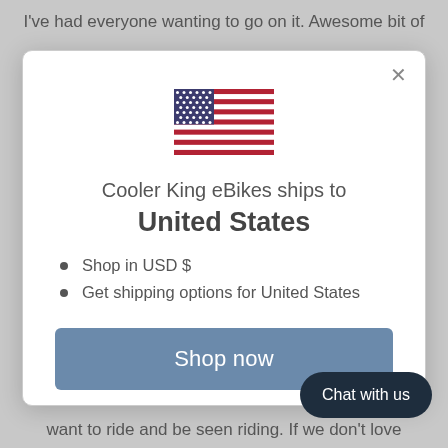I've had everyone wanting to go on it. Awesome bit of
[Figure (illustration): US flag SVG illustration inside a modal dialog]
Cooler King eBikes ships to
United States
Shop in USD $
Get shipping options for United States
Shop now
Change shipping cou...
Chat with us
want to ride and be seen riding. If we don't love